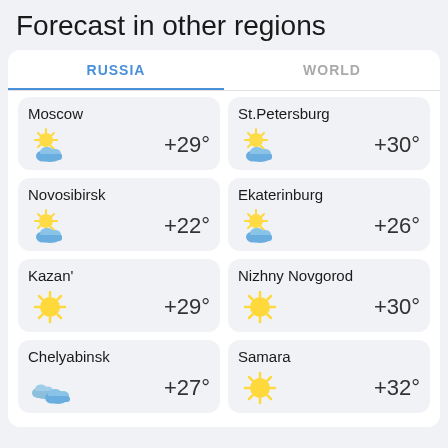Forecast in other regions
RUSSIA | WORLD (tabs)
Moscow +29°
St.Petersburg +30°
Novosibirsk +22°
Ekaterinburg +26°
Kazan' +29°
Nizhny Novgorod +30°
Chelyabinsk +27°
Samara +32°